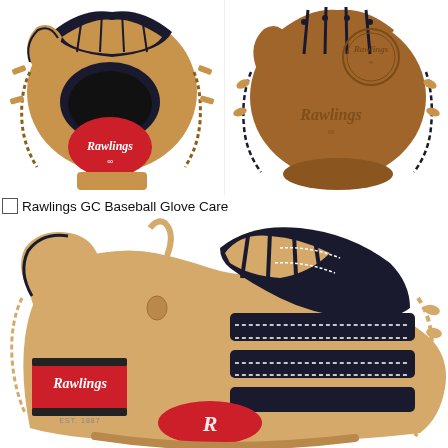[Figure (photo): Two Rawlings baseball gloves shown from different angles - front view showing red Rawlings logo medallion and tan/black leather, and back view showing brown leather with Rawlings embossed logo]
Rawlings GC Baseball Glove Care
[Figure (photo): Close-up of a Rawlings baseball glove showing camel/cream and black leather with red Rawlings patch logo, EST. 1887 text, and red Rawlings oval logo, with detailed lacing and finger stalls]